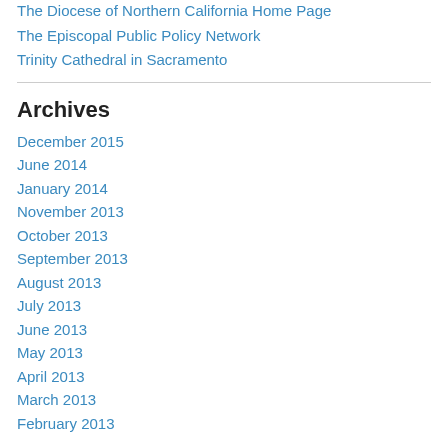The Diocese of Northern California Home Page
The Episcopal Public Policy Network
Trinity Cathedral in Sacramento
Archives
December 2015
June 2014
January 2014
November 2013
October 2013
September 2013
August 2013
July 2013
June 2013
May 2013
April 2013
March 2013
February 2013